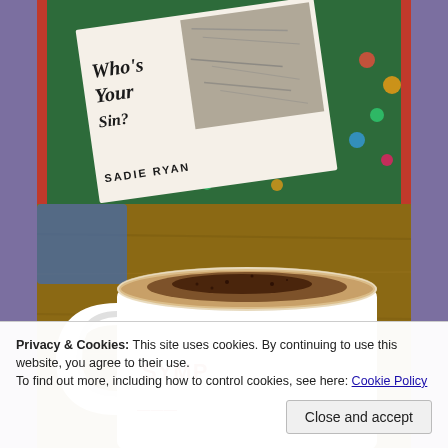[Figure (photo): Book cover of 'Who's Your Sin?' by Sadie Ryan, displayed on a tablet/e-reader with a red border, on a green fabric background with colorful dots. The cover shows crumpled paper in black and white.]
[Figure (photo): A white mug labeled 'SYMP...' containing a cappuccino or hot chocolate with cocoa powder dusted on top of foamed milk, placed on a wooden table.]
Privacy & Cookies: This site uses cookies. By continuing to use this website, you agree to their use.
To find out more, including how to control cookies, see here: Cookie Policy
Close and accept